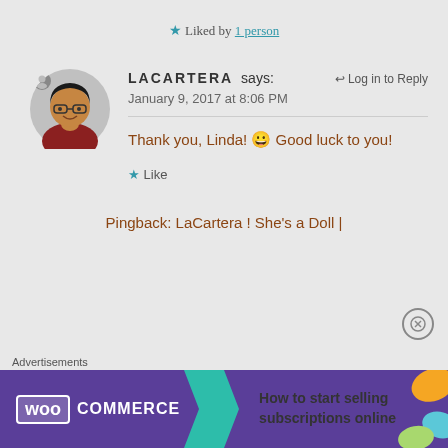★ Liked by 1 person
LACARTERA says: ↩ Log in to Reply
January 9, 2017 at 8:06 PM
Thank you, Linda! 😀 Good luck to you!
★ Like
Pingback: LaCartera ! She's a Doll |
Advertisements
[Figure (infographic): WooCommerce advertisement banner: 'How to start selling subscriptions online']